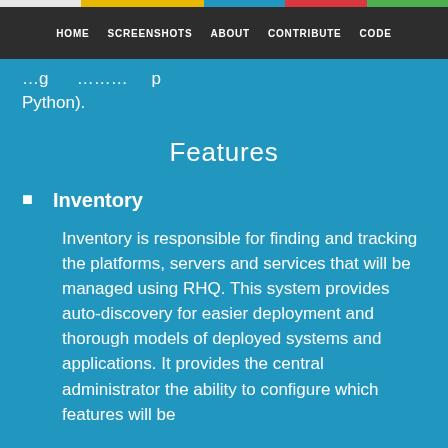HOME  SCREENSHOTS  ABOUT  CONTRIBUTE  CODE
...g ........ p Python).
Features
Inventory
Inventory is responsible for finding and tracking the platforms, servers and services that will be managed using RHQ. This system provides auto-discovery for easier deployment and thorough models of deployed systems and applications. It provides the central administrator the ability to configure which features will be